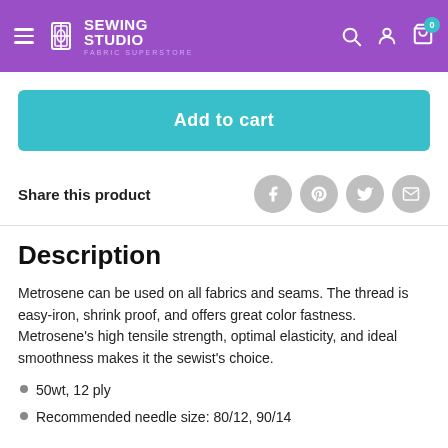Sewing Studio Fabric Superstore
Add to cart
Share this product
Description
Metrosene can be used on all fabrics and seams. The thread is easy-iron, shrink proof, and offers great color fastness. Metrosene's high tensile strength, optimal elasticity, and ideal smoothness makes it the sewist's choice.
50wt, 12 ply
Recommended needle size: 80/12, 90/14